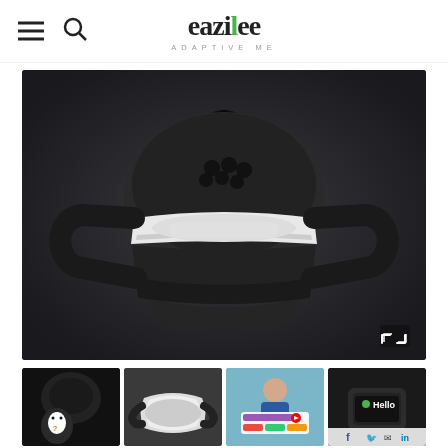eazilee ADAPTIVE ME
[Figure (photo): Top-down view of a black and white VR headset (PlayStation VR2 style) on a dark background, showing the headband, lenses and button array on top]
[Figure (photo): Four thumbnail images below main image: 1) Dark VR headset close-up with cartoon penguin overlay, 2) Side profile of VR headset, 3) Person in store with AR/interactive display, 4) VR headset with Hello greeting screen]